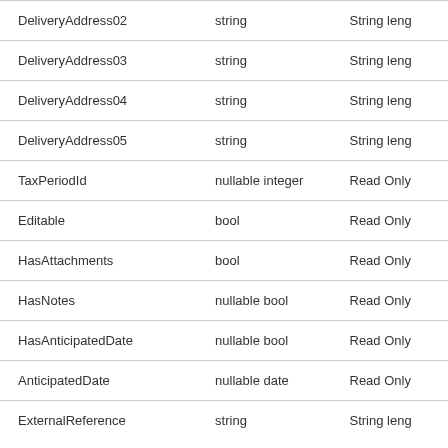| Field | Type | Constraint |
| --- | --- | --- |
| DeliveryAddress02 | string | String leng |
| DeliveryAddress03 | string | String leng |
| DeliveryAddress04 | string | String leng |
| DeliveryAddress05 | string | String leng |
| TaxPeriodId | nullable integer | Read Only |
| Editable | bool | Read Only |
| HasAttachments | bool | Read Only |
| HasNotes | nullable bool | Read Only |
| HasAnticipatedDate | nullable bool | Read Only |
| AnticipatedDate | nullable date | Read Only |
| ExternalReference | string | String leng |